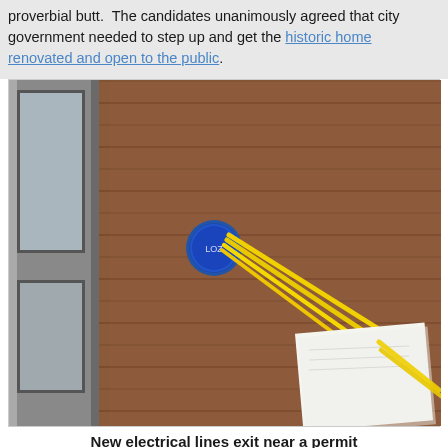proverbial butt.  The candidates unanimously agreed that city government needed to step up and get the historic home renovated and open to the public.
[Figure (photo): Photograph of the exterior wall of a building with horizontal wood siding. A blue electrical junction box is mounted on the wall with yellow electrical wires emerging from it and running diagonally toward the lower right. A white permit or document is partially visible in the lower right corner. The left side shows a gray column and a window.]
New electrical lines exit near a permit